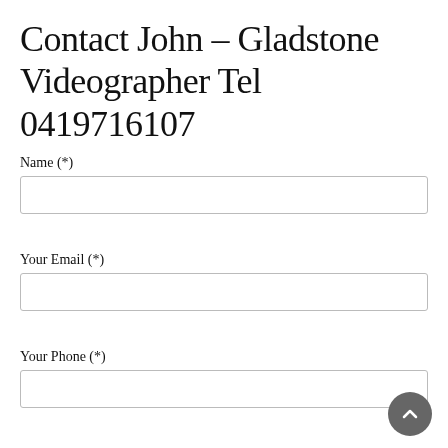Contact John - Gladstone Videographer Tel 0419716107
Name (*)
Your Email (*)
Your Phone (*)